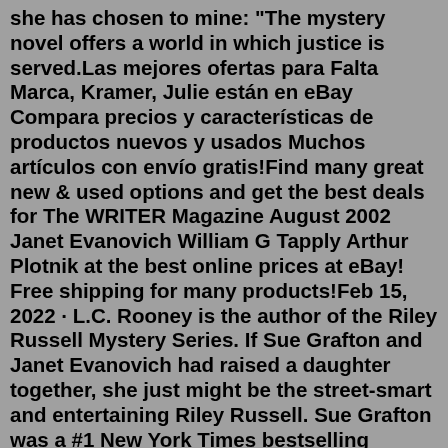she has chosen to mine: "The mystery novel offers a world in which justice is served.Las mejores ofertas para Falta Marca, Kramer, Julie están en eBay Compara precios y características de productos nuevos y usados Muchos artículos con envío gratis!Find many great new & used options and get the best deals for The WRITER Magazine August 2002 Janet Evanovich William G Tapply Arthur Plotnik at the best online prices at eBay! Free shipping for many products!Feb 15, 2022 · L.C. Rooney is the author of the Riley Russell Mystery Series. If Sue Grafton and Janet Evanovich had raised a daughter together, she just might be the street-smart and entertaining Riley Russell. Sue Grafton was a #1 New York Times bestselling author. She is best known for her "alphabet series" featuring private investigator Kinsey Millhone in the fictional city of Santa Teresa, California. Pr… Steffie Hall 55 followers Author of 3 books including Full House Follow author A pseudonym used by Janet Evanovich for several early novels Updated June 8, 2017 294